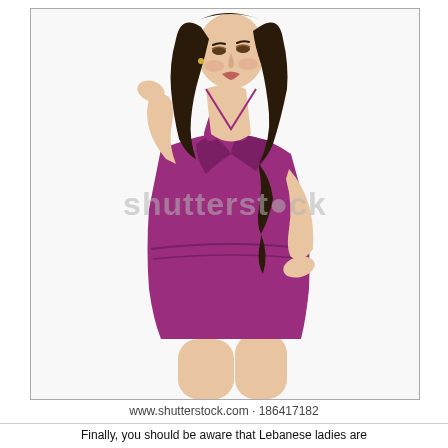[Figure (photo): A woman with long dark hair wearing a deep-V halter-neck purple/magenta mini dress, posing against a white background. A Shutterstock watermark is overlaid on the image.]
www.shutterstock.com · 186417182
Finally, you should be aware that Lebanese ladies are